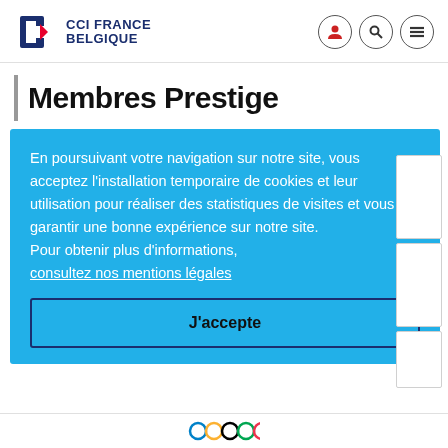CCI FRANCE BELGIQUE
Membres Prestige
En poursuivant votre navigation sur notre site, vous acceptez l'installation temporaire de cookies et leur utilisation pour réaliser des statistiques de visites et vous garantir une bonne expérience sur notre site. Pour obtenir plus d'informations, consultez nos mentions légales
J'accepte